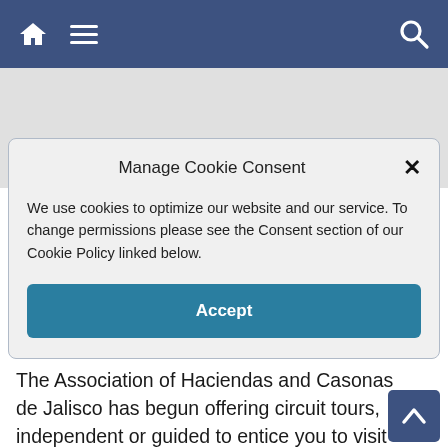Navigation bar with home, menu, and search icons
[Figure (screenshot): Gray content area representing website background below navigation bar]
Manage Cookie Consent
We use cookies to optimize our website and our service. To change permissions please see the Consent section of our Cookie Policy linked below.
Accept
The Association of Haciendas and Casonas de Jalisco has begun offering circuit tours, independent or guided to entice you to visit more than one. Here’s rundown what they have to offer.